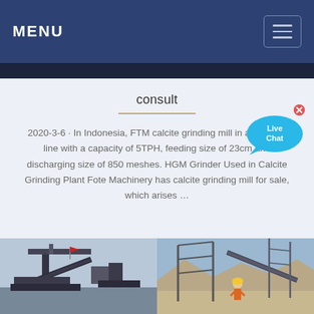MENU
consult
2020-3-6 · In Indonesia, FTM calcite grinding mill in a grinding line with a capacity of 5TPH, feeding size of 23cm and discharging size of 850 meshes. HGM Grinder Used in Calcite Grinding Plant Fote Machinery has calcite grinding mill for sale, which arises …
[Figure (photo): Industrial mining/crushing machinery equipment on the left, worker at a mining site on the right]